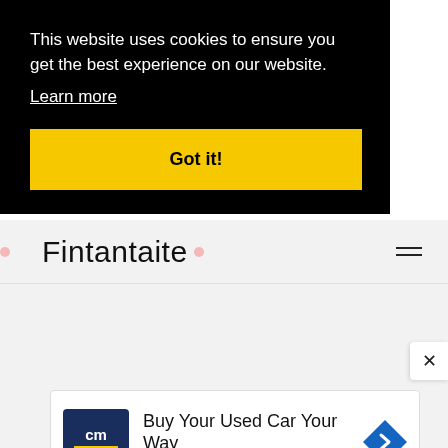This website uses cookies to ensure you get the best experience on our website.
Learn more
Got it!
Fintantaite
[Figure (screenshot): Grey content area with close (×) button on right side]
[Figure (screenshot): CarMax advertisement: Buy Your Used Car Your Way, CarMax, with logo and navigation arrow icon]